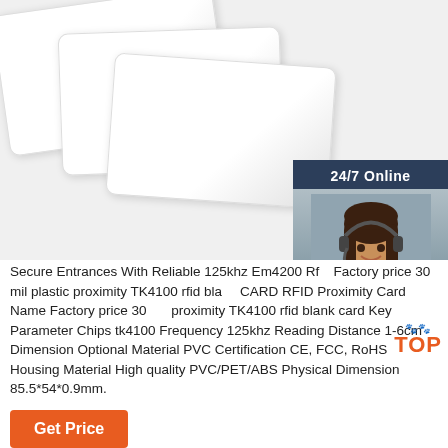[Figure (photo): Three white blank RFID proximity cards fanned out on white background, with a customer service chat widget on the right showing a female headset agent and '24/7 Online' label, 'Click here for free chat!', and a QUOTATION button]
Secure Entrances With Reliable 125khz Em4200 Rfid Factory price 30 mil plastic proximity TK4100 rfid blank card RFID Proximity Card Name Factory price 30 mil proximity TK4100 rfid blank card Key Parameter Chips tk4100 Frequency 125khz Reading Distance 1-6cm Dimension Optional Material PVC Certification CE, FCC, RoHS Housing Material High quality PVC/PET/ABS Physical Dimension 85.5*54*0.9mm.
Get Price